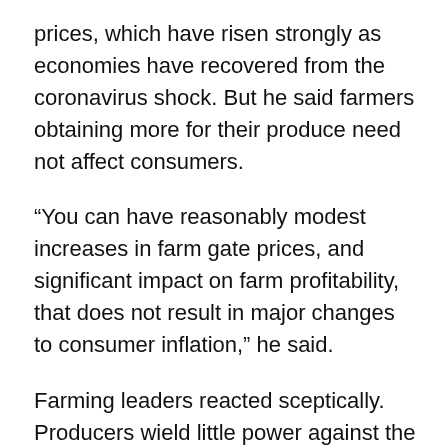prices, which have risen strongly as economies have recovered from the coronavirus shock. But he said farmers obtaining more for their produce need not affect consumers.
“You can have reasonably modest increases in farm gate prices, and significant impact on farm profitability, that does not result in major changes to consumer inflation,” he said.
Farming leaders reacted sceptically. Producers wield little power against the UK’s mighty supermarkets, a handful of which control the vast majority of the food retail market. The problem of farmers having their margins cut to the bone by supermarkets, and bei threatened with the loss of their contracts for speaking out, has been one of the biggest sources of distress to